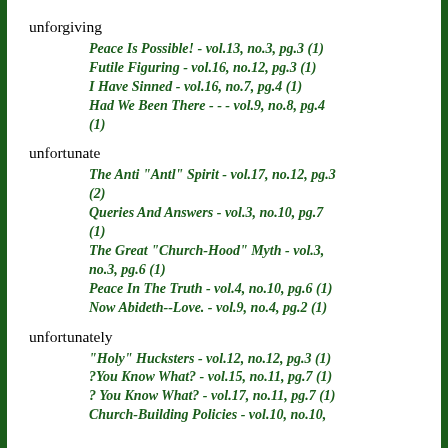unforgiving
Peace Is Possible! - vol.13, no.3, pg.3 (1)
Futile Figuring - vol.16, no.12, pg.3 (1)
I Have Sinned - vol.16, no.7, pg.4 (1)
Had We Been There - - - vol.9, no.8, pg.4 (1)
unfortunate
The Anti "Antl" Spirit - vol.17, no.12, pg.3 (2)
Queries And Answers - vol.3, no.10, pg.7 (1)
The Great "Church-Hood" Myth - vol.3, no.3, pg.6 (1)
Peace In The Truth - vol.4, no.10, pg.6 (1)
Now Abideth--Love. - vol.9, no.4, pg.2 (1)
unfortunately
"Holy" Hucksters - vol.12, no.12, pg.3 (1)
?You Know What? - vol.15, no.11, pg.7 (1)
? You Know What? - vol.17, no.11, pg.7 (1)
Church-Building Policies - vol.10, no.10, ...